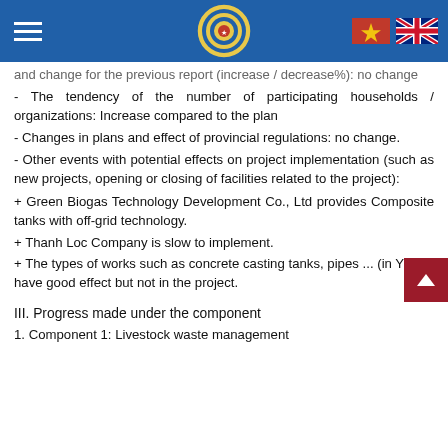Header bar with hamburger menu, logo, Vietnamese and UK flags
and change for the previous report (increase / decrease%): no change
- The tendency of the number of participating households / organizations: Increase compared to the plan
- Changes in plans and effect of provincial regulations: no change.
- Other events with potential effects on project implementation (such as new projects, opening or closing of facilities related to the project):
+ Green Biogas Technology Development Co., Ltd provides Composite tanks with off-grid technology.
+ Thanh Loc Company is slow to implement.
+ The types of works such as concrete casting tanks, pipes ... (in Y Yen) have good effect but not in the project.
III. Progress made under the component
1. Component 1: Livestock waste management